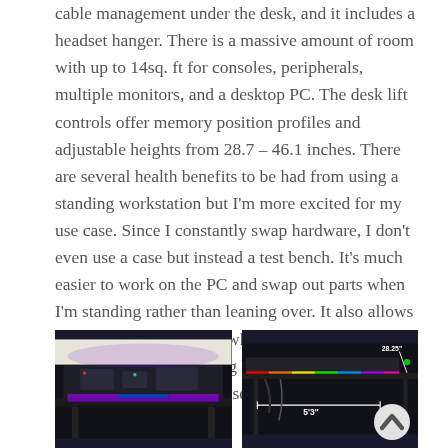cable management under the desk, and it includes a headset hanger. There is a massive amount of room with up to 14sq. ft for consoles, peripherals, multiple monitors, and a desktop PC. The desk lift controls offer memory position profiles and adjustable heights from 28.7 – 46.1 inches. There are several health benefits to be had from using a standing workstation but I'm more excited for my use case. Since I constantly swap hardware, I don't even use a case but instead a test bench. It's much easier to work on the PC and swap out parts when I'm standing rather than leaning over. It also allows me to get closer to parts when I'm tinkering or setting up a water-cooling loop. Having the spill resistant full surface mouse matt sure will be handy if any leaks occur.
[Figure (photo): Photo of a PC test bench setup with RGB lighting under a standing desk, colorful purple and blue LED strips visible]
[Figure (photo): Photo of a standing desk with RGB keyboard and measurement annotations showing 28.25 inches height and 5'3" width, with a scroll-up button overlay]